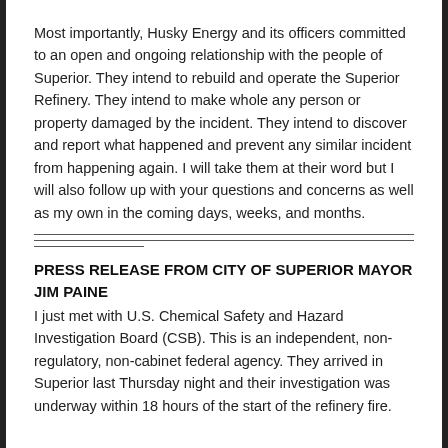Most importantly, Husky Energy and its officers committed to an open and ongoing relationship with the people of Superior. They intend to rebuild and operate the Superior Refinery. They intend to make whole any person or property damaged by the incident. They intend to discover and report what happened and prevent any similar incident from happening again. I will take them at their word but I will also follow up with your questions and concerns as well as my own in the coming days, weeks, and months.
PRESS RELEASE FROM CITY OF SUPERIOR MAYOR JIM PAINE
I just met with U.S. Chemical Safety and Hazard Investigation Board (CSB). This is an independent, non-regulatory, non-cabinet federal agency. They arrived in Superior last Thursday night and their investigation was underway within 18 hours of the start of the refinery fire.